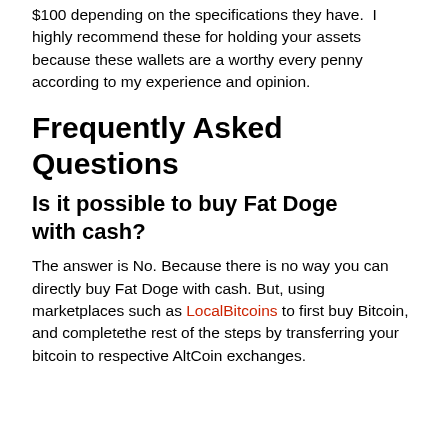$100 depending on the specifications they have.  I highly recommend these for holding your assets because these wallets are a worthy every penny according to my experience and opinion.
Frequently Asked Questions
Is it possible to buy Fat Doge with cash?
The answer is No. Because there is no way you can directly buy Fat Doge with cash. But, using marketplaces such as LocalBitcoins to first buy Bitcoin, and completethe rest of the steps by transferring your bitcoin to respective AltCoin exchanges.